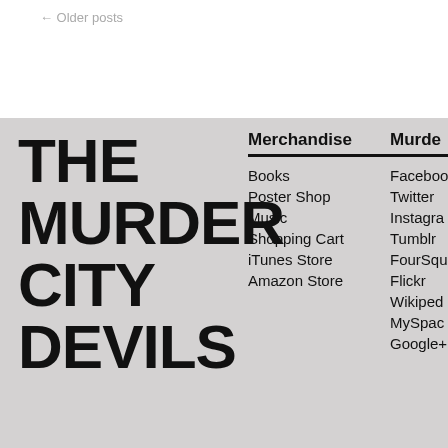← Older posts
THE MURDER CITY DEVILS
Merchandise
Books
Poster Shop
Music
Shopping Cart
iTunes Store
Amazon Store
Murde...
Facebook
Twitter
Instagram
Tumblr
FourSquare
Flickr
Wikipedia
MySpace
Google+